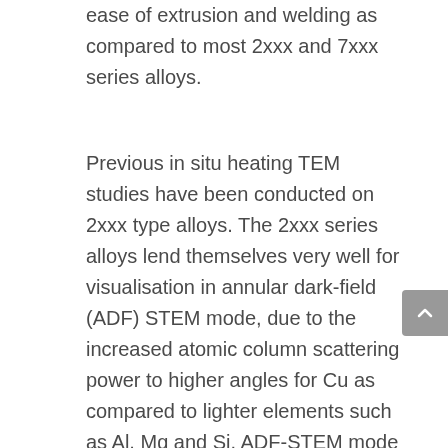ease of extrusion and welding as compared to most 2xxx and 7xxx series alloys.
Previous in situ heating TEM studies have been conducted on 2xxx type alloys. The 2xxx series alloys lend themselves very well for visualisation in annular dark-field (ADF) STEM mode, due to the increased atomic column scattering power to higher angles for Cu as compared to lighter elements such as Al, Mg and Si. ADF-STEM mode imaging is less suitable for 6xxx series alloys, where the Cu content is usually very low compared